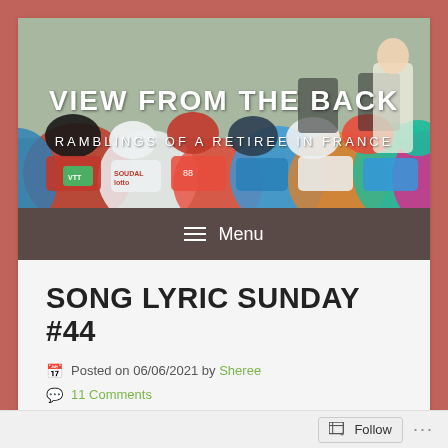[Figure (photo): Banner photo of a cycling race peloton from behind, with riders in colorful jerseys including Lotto Soudal. Text overlay reads VIEW FROM THE BACK and RAMBLINGS OF A RETIREE IN FRANCE]
VIEW FROM THE BACK
RAMBLINGS OF A RETIREE IN FRANCE
≡  Menu
SONG LYRIC SUNDAY #44
Posted on 06/06/2021 by Sheree
11 Comments